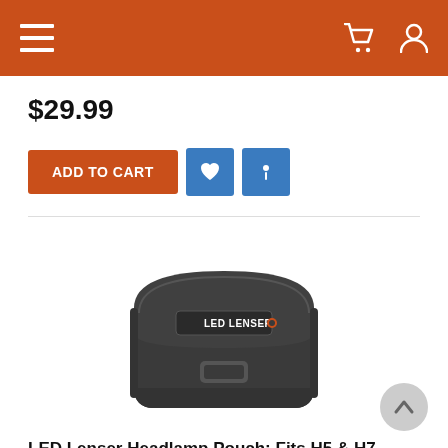Navigation header with menu, cart, and user icons
$29.99
ADD TO CART
[Figure (photo): LED Lenser branded black neoprene headlamp pouch with flap closure and belt loop, shown on white background]
LED Lenser Headlamp Pouch: Fits H5 & H7